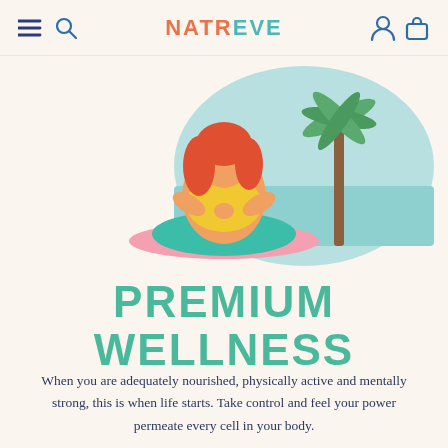NATREVE
[Figure (illustration): Illustration of a plus-size woman with red hair sitting in a yoga/meditation pose (cross-legged, hands pressed together) wearing a yellow top and teal shorts, sitting on a pink mat. Behind her is a beach scene with a palm tree and teal/light blue sky and sea.]
PREMIUM WELLNESS
When you are adequately nourished, physically active and mentally strong, this is when life starts. Take control and feel your power permeate every cell in your body.